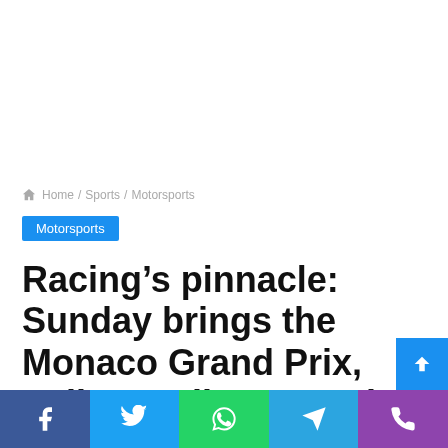Home / Sports / Motorsports
Motorsports
Racing’s pinnacle: Sunday brings the Monaco Grand Prix, Indianapolis 500 and Coca-Cola 600